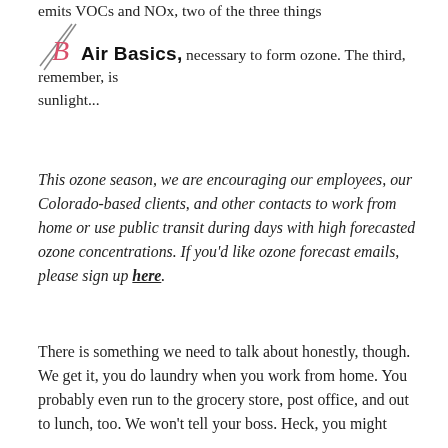emits VOCs and NOx, two of the three things necessary to form ozone. The third, remember, is sunlight...
[Figure (logo): Air Basics, Inc. logo with stylized B initial and italic/script font overlay]
This ozone season, we are encouraging our employees, our Colorado-based clients, and other contacts to work from home or use public transit during days with high forecasted ozone concentrations. If you'd like ozone forecast emails, please sign up here.
There is something we need to talk about honestly, though. We get it, you do laundry when you work from home. You probably even run to the grocery store, post office, and out to lunch, too. We won't tell your boss. Heck, you might even bring your partner if you aim to entitle them...